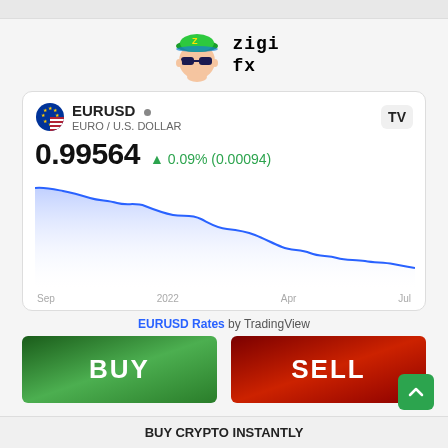[Figure (logo): Zigi FX logo with cartoon character wearing green cap and sunglasses, text 'zigi fx' in monospace font]
[Figure (continuous-plot): EURUSD price chart showing downward trend from Sep 2021 to Jul 2022, with x-axis labels: Sep, 2022, Apr, Jul. Price declined from ~1.18 to ~0.996. Blue line with light blue fill area chart.]
EURUSD • EURO / U.S. DOLLAR 0.99564 ▲ 0.09% (0.00094)
EURUSD Rates by TradingView
BUY
SELL
BUY CRYPTO INSTANTLY